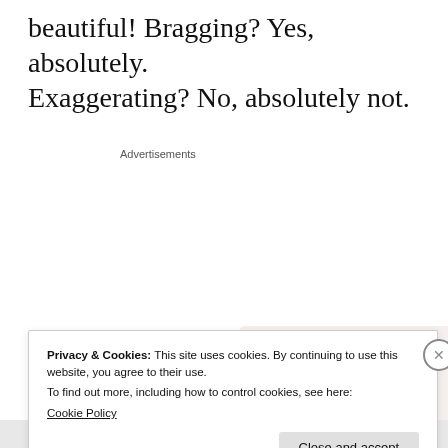beautiful!  Bragging?  Yes, absolutely.  Exaggerating?  No, absolutely not.
Advertisements
[Figure (illustration): Advertisement graphic: top half on light beige background reads 'Business in the front...' in bold serif font; bottom half on orange/peach background with overlapping colored circles reads 'WordPress in the back.' in bold serif font.]
Privacy & Cookies: This site uses cookies. By continuing to use this website, you agree to their use.
To find out more, including how to control cookies, see here:
Cookie Policy
Close and accept